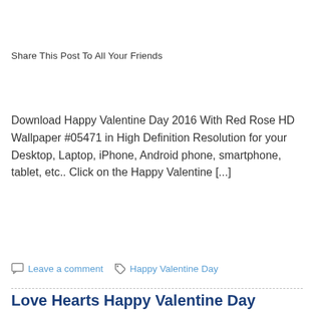Share This Post To All Your Friends
Download Happy Valentine Day 2016 With Red Rose HD Wallpaper #05471 in High Definition Resolution for your Desktop, Laptop, iPhone, Android phone, smartphone, tablet, etc.. Click on the Happy Valentine [...]
» Read more
Leave a comment   Happy Valentine Day
Love Hearts Happy Valentine Day Wallpaper